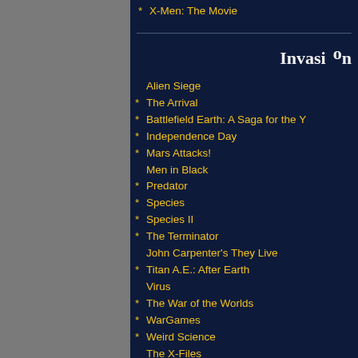X-Men: The Movie
Invasion
Alien Siege
* The Arrival
* Battlefield Earth: A Saga for the Y
* Independence Day
* Mars Attacks!
Men in Black
* Predator
* Species
* Species II
* The Terminator
John Carpenter's They Live
* Titan A.E.: After Earth
Virus
* The War of the Worlds
* WarGames
* Weird Science
The X-Files
Intelli
* 2001: A Space Odyssey
* Bicentennial Man
* Blade Runner